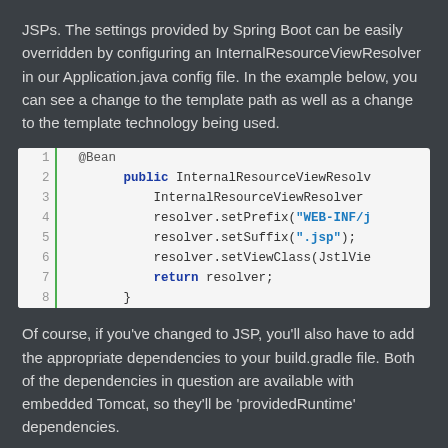JSPs. The settings provided by Spring Boot can be easily overridden by configuring an InternalResourceViewResolver in our Application.java config file. In the example below, you can see a change to the template path as well as a change to the template technology being used.
[Figure (screenshot): Code block showing Java configuration with @Bean annotation, public InternalResourceViewResolver method, resolver.setPrefix("WEB-INF/j..."), resolver.setSuffix(".jsp"), resolver.setViewClass(JstlVie...), return resolver; closing brace. Lines 1-8.]
Of course, if you've changed to JSP, you'll also have to add the appropriate dependencies to your build.gradle file. Both of the dependencies in question are available with embedded Tomcat, so they'll be 'providedRuntime' dependencies.
[Figure (screenshot): Code block showing providedRuntime("javax.servlet:jstl"): and providedRuntime("org.apache.tomcat.em..."). Lines 1-2.]